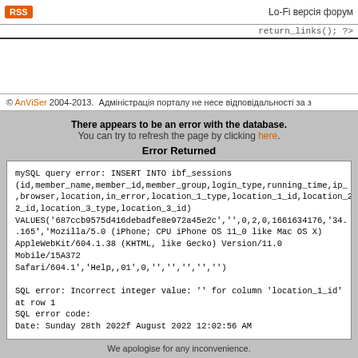RSS   Lo-Fi версія форум
return_links(); ?>
© AnViSer 2004-2013.  Адміністрація порталу не несе відповідальності за з
There appears to be an error with the database.
You can try to refresh the page by clicking here.
Error Returned
mySQL query error: INSERT INTO ibf_sessions (id,member_name,member_id,member_group,login_type,running_time,ip_ ,browser,location,in_error,location_1_type,location_1_id,location_2_type,lo 2_id,location_3_type,location_3_id) VALUES('687ccb9575d416debadfe8e972a45e2c','',0,2,0,1661634176,'34. .165','Mozilla/5.0 (iPhone; CPU iPhone OS 11_0 like Mac OS X) AppleWebKit/604.1.38 (KHTML, like Gecko) Version/11.0 Mobile/15A372 Safari/604.1','Help,,01',0,'','','','','')

SQL error: Incorrect integer value: '' for column 'location_1_id' at row 1
SQL error code:
Date: Sunday 28th 2022f August 2022 12:02:56 AM
We apologise for any inconvenience.